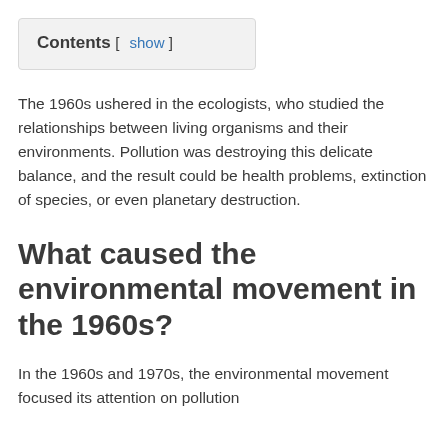The 1960s ushered in the ecologists, who studied the relationships between living organisms and their environments. Pollution was destroying this delicate balance, and the result could be health problems, extinction of species, or even planetary destruction.
What caused the environmental movement in the 1960s?
In the 1960s and 1970s, the environmental movement focused its attention on pollution